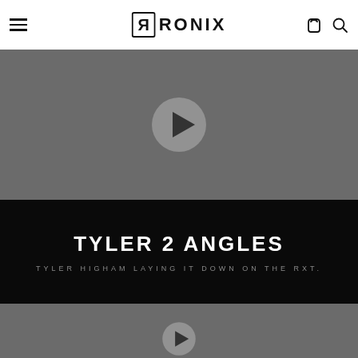RONIX
[Figure (screenshot): Video thumbnail with dark gray background and a circular play button in the center]
TYLER 2 ANGLES
TYLER HIGHAM LAYING IT DOWN ON THE RXT.
[Figure (screenshot): Second video thumbnail with dark gray background, partially visible play button at bottom]